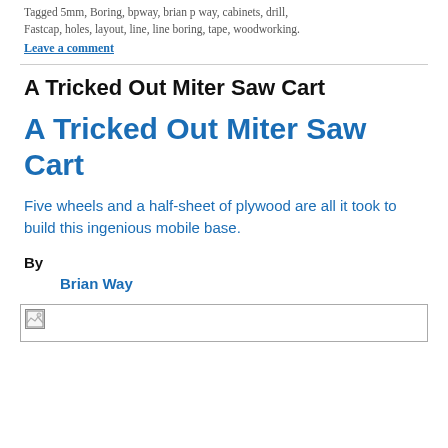Tagged 5mm, Boring, bpway, brian p way, cabinets, drill, Fastcap, holes, layout, line, line boring, tape, woodworking.
Leave a comment
A Tricked Out Miter Saw Cart
A Tricked Out Miter Saw Cart
Five wheels and a half-sheet of plywood are all it took to build this ingenious mobile base.
By
Brian Way
[Figure (photo): Image placeholder with broken image icon at top left]